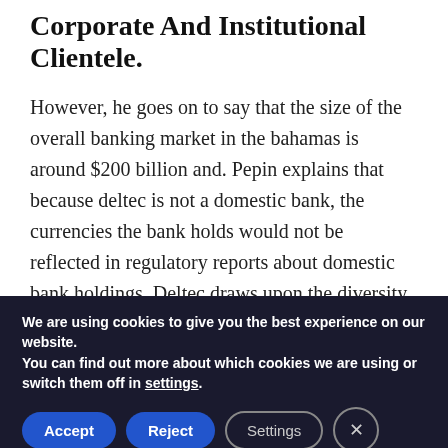Corporate And Institutional Clientele.
However, he goes on to say that the size of the overall banking market in the bahamas is around $200 billion and. Pepin explains that because deltec is not a domestic bank, the currencies the bank holds would not be reflected in regulatory reports about domestic bank holdings. Deltec draws upon the diversity of experience and backgrounds of more than 150 professionals.
More Than A Dozen South Florida
We are using cookies to give you the best experience on our website.
You can find out more about which cookies we are using or switch them off in settings.